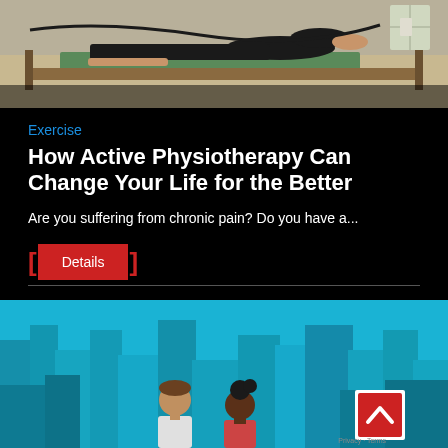[Figure (photo): Woman doing pilates on a reformer machine, lying down with legs up, in a gym/studio setting with equipment visible]
Exercise
How Active Physiotherapy Can Change Your Life for the Better
Are you suffering from chronic pain? Do you have a...
Details
[Figure (illustration): Animated illustration showing two people (a man and a woman) in an urban city setting with teal/blue background and stylized buildings]